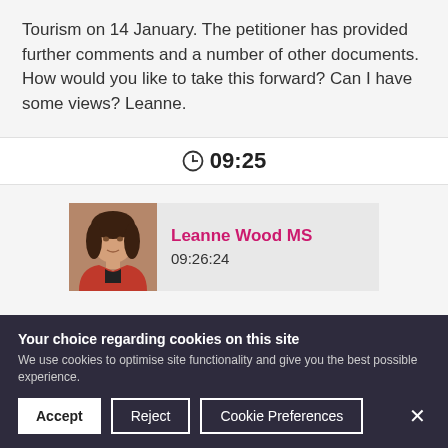Tourism on 14 January. The petitioner has provided further comments and a number of other documents. How would you like to take this forward? Can I have some views? Leanne.
09:25
[Figure (photo): Photo of Leanne Wood MS with name and timestamp 09:26:24]
Leanne Wood MS 09:26:24
Your choice regarding cookies on this site
We use cookies to optimise site functionality and give you the best possible experience.
Accept | Reject | Cookie Preferences | ×